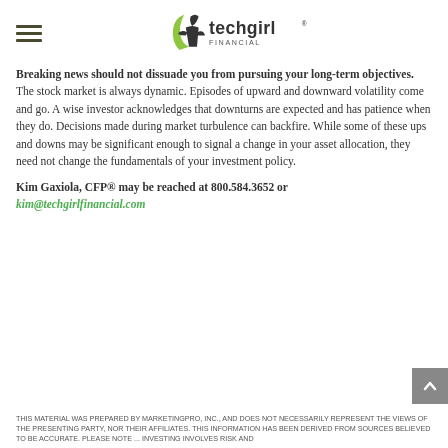techgirl FINANCIAL (logo)
Breaking news should not dissuade you from pursuing your long-term objectives. The stock market is always dynamic. Episodes of upward and downward volatility come and go. A wise investor acknowledges that downturns are expected and has patience when they do. Decisions made during market turbulence can backfire. While some of these ups and downs may be significant enough to signal a change in your asset allocation, they need not change the fundamentals of your investment policy.
Kim Gaxiola, CFP® may be reached at 800.584.3652 or kim@techgirlfinancial.com
THIS MATERIAL WAS PREPARED BY MARKETINGPRO, INC., AND DOES NOT NECESSARILY REPRESENT THE VIEWS OF THE PRESENTING PARTY, NOR THEIR AFFILIATES. THIS INFORMATION HAS BEEN DERIVED FROM SOURCES BELIEVED TO BE ACCURATE. PLEASE NOTE ... INVESTING INVOLVES RISK AND